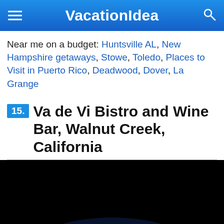VacationIdea
Near me on a budget: Huntsville AL, New Hampshire getaways, Stowe, Toledo, Places to Visit in Puerto Rico, Deadwood, Dover, La Grange
15. Va de Vi Bistro and Wine Bar, Walnut Creek, California
[Figure (photo): Dark image showing a glowing Earth or illuminated landscape against a black background, viewed from above/space perspective]